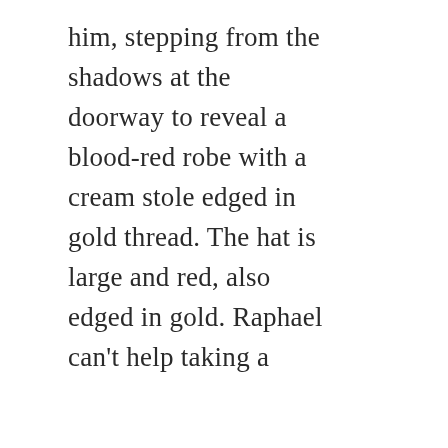him, stepping from the shadows at the doorway to reveal a blood-red robe with a cream stole edged in gold thread. The hat is large and red, also edged in gold. Raphael can't help taking a